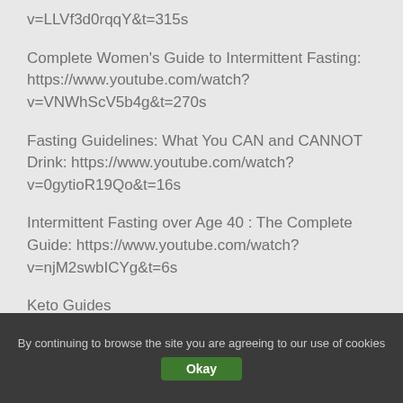v=LLVf3d0rqqY&t=315s
Complete Women's Guide to Intermittent Fasting: https://www.youtube.com/watch?v=VNWhScV5b4g&t=270s
Fasting Guidelines: What You CAN and CANNOT Drink: https://www.youtube.com/watch?v=0gytioR19Qo&t=16s
Intermittent Fasting over Age 40 : The Complete Guide: https://www.youtube.com/watch?v=njM2swbICYg&t=6s
Keto Guides
By continuing to browse the site you are agreeing to our use of cookies